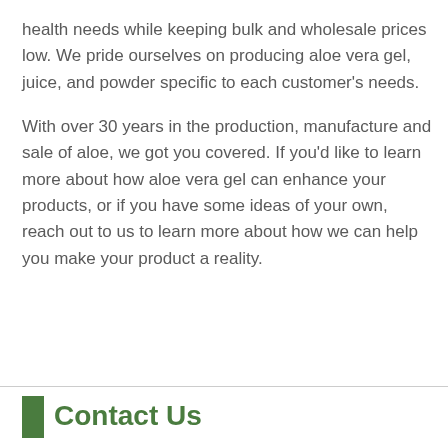health needs while keeping bulk and wholesale prices low. We pride ourselves on producing aloe vera gel, juice, and powder specific to each customer's needs.

With over 30 years in the production, manufacture and sale of aloe, we got you covered. If you'd like to learn more about how aloe vera gel can enhance your products, or if you have some ideas of your own, reach out to us to learn more about how we can help you make your product a reality.
Contact Us